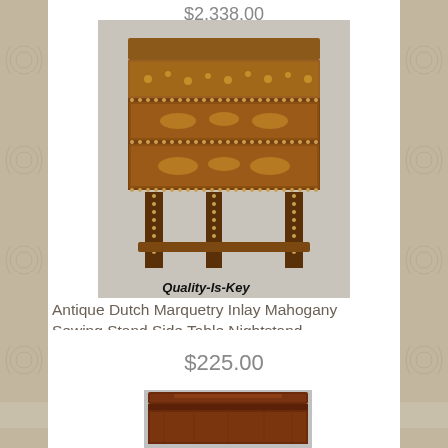$2,338.00
[Figure (photo): Antique Dutch Marquetry Inlay Mahogany Sewing Stand Side Table Nightstand with decorative brass nail trim, floral marquetry panels, four tapered legs and lower shelf. Watermark reads Quality-Is-Key.]
Antique Dutch Marquetry Inlay Mahogany Sewing Stand Side Table Nightstand
$225.00
[Figure (photo): Partial view of a dark mahogany nightstand or side table with drawer.]